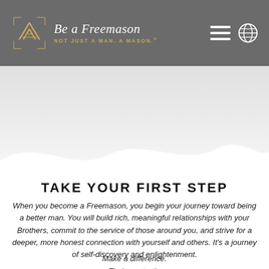Be a Freemason | NOT JUST A MAN. A MASON.
[Figure (illustration): Hero background area with light gray gradient and white wave shape at bottom]
TAKE YOUR FIRST STEP
When you become a Freemason, you begin your journey toward being a better man. You will build rich, meaningful relationships with your Brothers, commit to the service of those around you, and strive for a deeper, more honest connection with yourself and others. It's a journey of self-discovery and enlightenment.
Make a difference.
Find your truth.